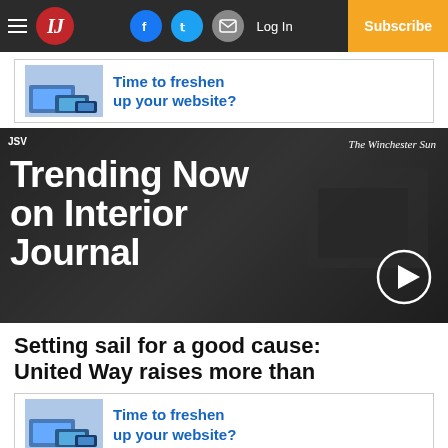Interior Journal – Navigation bar with logo, social icons, Log In, Subscribe
[Figure (screenshot): Advertisement banner: 'Time to freshen up your website?' with image of devices]
[Figure (screenshot): Video thumbnail with text 'Trending Now on Interior Journal' and The Winchester Sun logo, with play button overlay. JSV label top left.]
Setting sail for a good cause: United Way raises more than
[Figure (screenshot): Advertisement banner: 'Time to freshen up your website?' with image of devices]